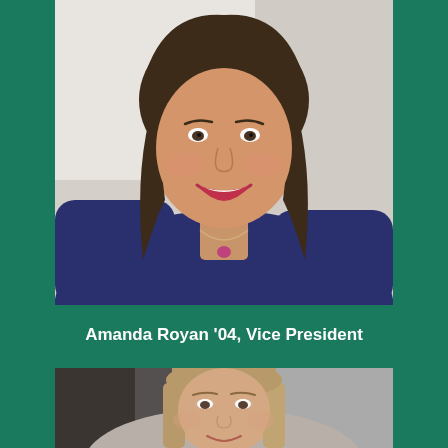[Figure (photo): Headshot of Amanda Royan, a woman with shoulder-length dark brown hair, wearing a navy blue top with a pink gemstone necklace, smiling at the camera against a light background.]
Amanda Royan '04, Vice President
[Figure (photo): Headshot of a young woman with straight light brown/blonde hair, smiling slightly, against a blurred indoor background.]